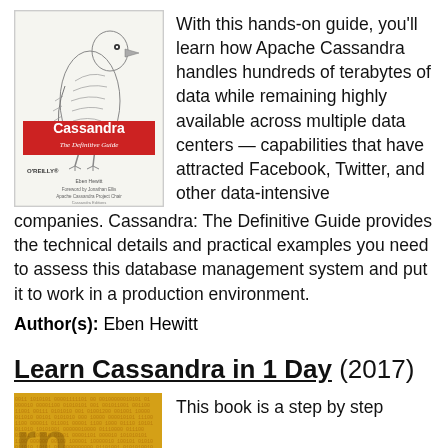[Figure (illustration): Book cover of 'Cassandra: The Definitive Guide' by Eben Hewitt, O'Reilly publisher, featuring a black and white illustration of a bird (cassowary), with a red banner showing the title.]
With this hands-on guide, you'll learn how Apache Cassandra handles hundreds of terabytes of data while remaining highly available across multiple data centers — capabilities that have attracted Facebook, Twitter, and other data-intensive companies. Cassandra: The Definitive Guide provides the technical details and practical examples you need to assess this database management system and put it to work in a production environment.
Author(s): Eben Hewitt
Learn Cassandra in 1 Day (2017)
[Figure (illustration): Book cover of 'Learn Cassandra in 1 Day' (2017), with a yellow/gold background filled with binary code patterns and large stylized letters partially visible.]
This book is a step by step